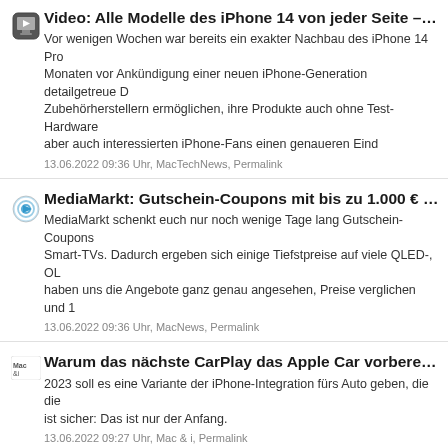Video: Alle Modelle des iPhone 14 von jeder Seite – als Du… | Vor wenigen Wochen war bereits ein exakter Nachbau des iPhone 14 Pro… Monaten vor Ankündigung einer neuen iPhone-Generation detailgetreue D… Zubehörherstellern ermöglichen, ihre Produkte auch ohne Test-Hardware… aber auch interessierten iPhone-Fans einen genaueren Eind | 13.06.2022 09:36 Uhr, MacTechNews, Permalink
MediaMarkt: Gutschein-Coupons mit bis zu 1.000 € geschen… | MediaMarkt schenkt euch nur noch wenige Tage lang Gutschein-Coupons… Smart-TVs. Dadurch ergeben sich einige Tiefstpreise auf viele QLED-, OL… haben uns die Angebote ganz genau angesehen, Preise verglichen und 1… | 13.06.2022 09:36 Uhr, MacNews, Permalink
Warum das nächste CarPlay das Apple Car vorbereitet | 2023 soll es eine Variante der iPhone-Integration fürs Auto geben, die die… ist sicher: Das ist nur der Anfang. | 13.06.2022 09:27 Uhr, Mac & i, Permalink
Amazon Prime wohl bald noch teurer: Nächste Preiserhöhu… | Auf Amazon-Prime-Kunden kommt wohl die nächste Preiserhöhung zu. D… Nutzungsbedingungen angepasst. Dies war in der Vergangenheit bei ande… Gebührenanhebung.